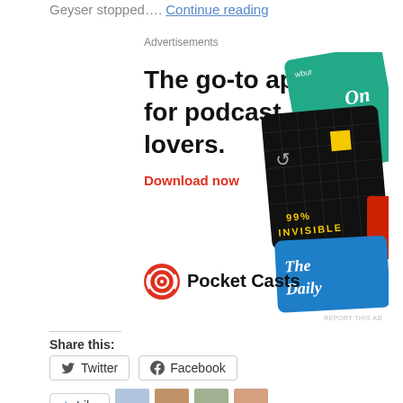Geyser stopped…. Continue reading
Advertisements
[Figure (illustration): Pocket Casts podcast app advertisement showing the headline 'The go-to app for podcast lovers.' with 'Download now' in red, the Pocket Casts logo, and podcast artwork cards including 99% Invisible and The Daily.]
Share this:
Twitter
Facebook
Like
4 bloggers like this.